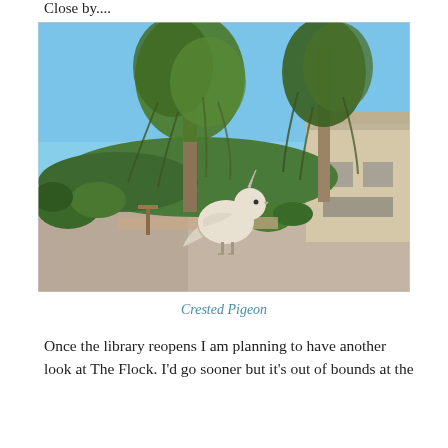Close by....
[Figure (photo): Outdoor photo showing a large metal sculpture of a Crested Pigeon standing on a path, surrounded by native Australian shrubs and eucalyptus trees, with a building visible in the background and a clear blue sky.]
Crested Pigeon
Once the library reopens I am planning to have another look at The Flock. I'd go sooner but it's out of bounds at the moment because of tree planting.